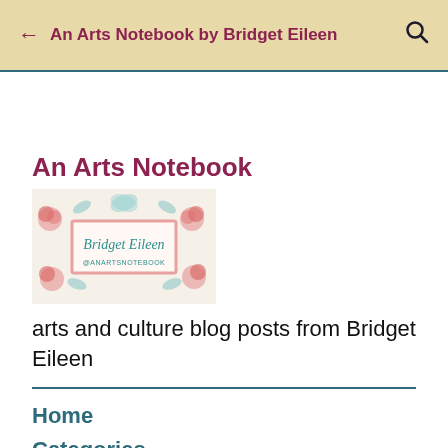← An Arts Notebook by Bridget Eileen 🔍
An Arts Notebook
[Figure (illustration): Decorative blog logo image with floral and butterfly motifs, containing a pink-bordered rectangle with 'Bridget Eileen @ANARTSNOTEBOOK' in teal script text.]
arts and culture blog posts from Bridget Eileen
Home
Categories
About
Bio
Social Media